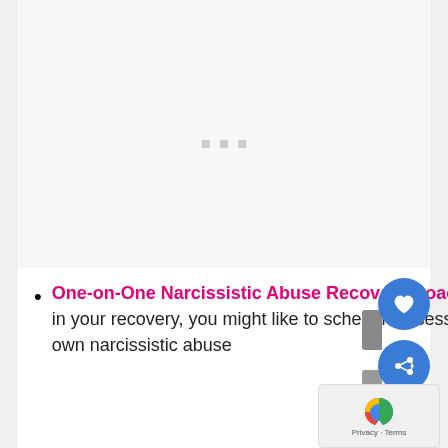[Figure (other): Large empty white/light gray placeholder image area with three small gray square dots near the center-top area, representing a loading or placeholder image block.]
One-on-One Narcissistic Abuse Recovery Coaching – If you prefer to get more personalized support in your recovery, you might like to schedule a session with one of our coaches to plan and execute your own narcissistic abuse